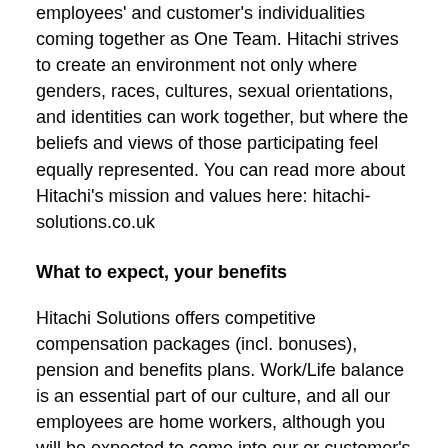employees' and customer's individualities coming together as One Team. Hitachi strives to create an environment not only where genders, races, cultures, sexual orientations, and identities can work together, but where the beliefs and views of those participating feel equally represented. You can read more about Hitachi's mission and values here: hitachi-solutions.co.uk
What to expect, your benefits
Hitachi Solutions offers competitive compensation packages (incl. bonuses), pension and benefits plans. Work/Life balance is an essential part of our culture, and all our employees are home workers, although you will be expected to come into our or customer's offices regularly. We operate a comprehensive career development programme that includes mentoring and training plans to ensure that you will continue to grow and develop your